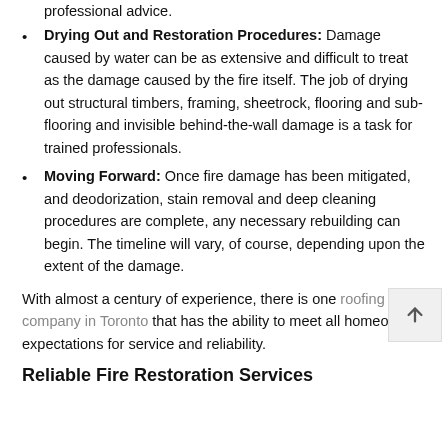professional advice.
Drying Out and Restoration Procedures: Damage caused by water can be as extensive and difficult to treat as the damage caused by the fire itself. The job of drying out structural timbers, framing, sheetrock, flooring and sub-flooring and invisible behind-the-wall damage is a task for trained professionals.
Moving Forward: Once fire damage has been mitigated, and deodorization, stain removal and deep cleaning procedures are complete, any necessary rebuilding can begin. The timeline will vary, of course, depending upon the extent of the damage.
With almost a century of experience, there is one roofing company in Toronto that has the ability to meet all homeowner expectations for service and reliability.
Reliable Fire Restoration Services